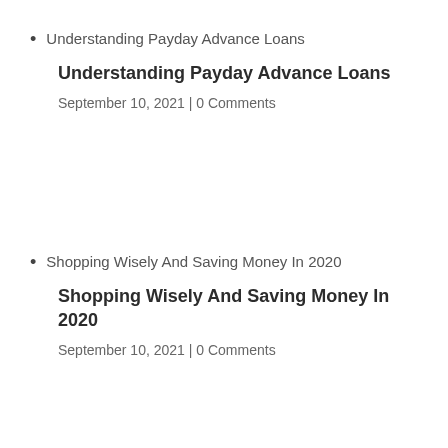Understanding Payday Advance Loans
Understanding Payday Advance Loans
September 10, 2021 | 0 Comments
Shopping Wisely And Saving Money In 2020
Shopping Wisely And Saving Money In 2020
September 10, 2021 | 0 Comments